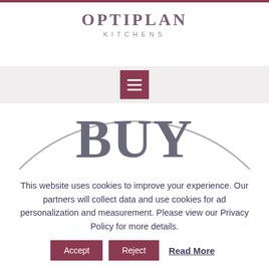[Figure (logo): Optiplan Kitchens logo with serif bold text OPTIPLAN and smaller spaced KITCHENS below]
[Figure (other): Navigation bar with hamburger menu icon (three white lines on dark red/mauve square background)]
[Figure (other): Large circle graphic with BUY NOW text in grey serif font, partially visible]
This website uses cookies to improve your experience. Our partners will collect data and use cookies for ad personalization and measurement. Please view our Privacy Policy for more details.
Accept  Reject  Read More